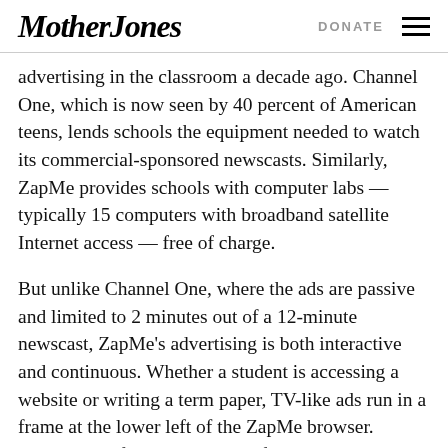Mother Jones | DONATE
advertising in the classroom a decade ago. Channel One, which is now seen by 40 percent of American teens, lends schools the equipment needed to watch its commercial-sponsored newscasts. Similarly, ZapMe provides schools with computer labs — typically 15 computers with broadband satellite Internet access — free of charge.
But unlike Channel One, where the ads are passive and limited to 2 minutes out of a 12-minute newscast, ZapMe's advertising is both interactive and continuous. Whether a student is accessing a website or writing a term paper, TV-like ads run in a frame at the lower left of the ZapMe browser. Clicking the frame brings up a full-page ad...